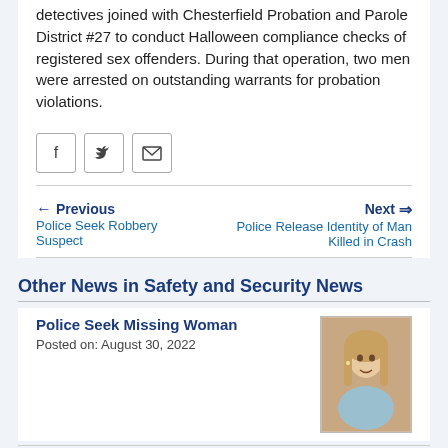detectives joined with Chesterfield Probation and Parole District #27 to conduct Halloween compliance checks of registered sex offenders. During that operation, two men were arrested on outstanding warrants for probation violations.
[Figure (infographic): Social sharing buttons: Facebook, Twitter, Email]
← Previous  Police Seek Robbery Suspect    Next ⇒  Police Release Identity of Man Killed in Crash
Other News in Safety and Security News
Police Seek Missing Woman
Posted on: August 30, 2022
[Figure (photo): Photo of a young woman with long blonde hair, smiling, wearing a light blue top.]
Police Investigate Shooting
Posted on: August 29, 2022